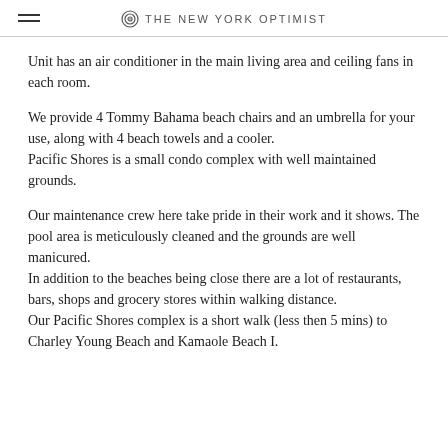THE NEW YORK OPTIMIST
Unit has an air conditioner in the main living area and ceiling fans in each room.
We provide 4 Tommy Bahama beach chairs and an umbrella for your use, along with 4 beach towels and a cooler.
Pacific Shores is a small condo complex with well maintained grounds.
Our maintenance crew here take pride in their work and it shows. The pool area is meticulously cleaned and the grounds are well manicured.
In addition to the beaches being close there are a lot of restaurants, bars, shops and grocery stores within walking distance.
Our Pacific Shores complex is a short walk (less then 5 mins) to Charley Young Beach and Kamaole Beach I.